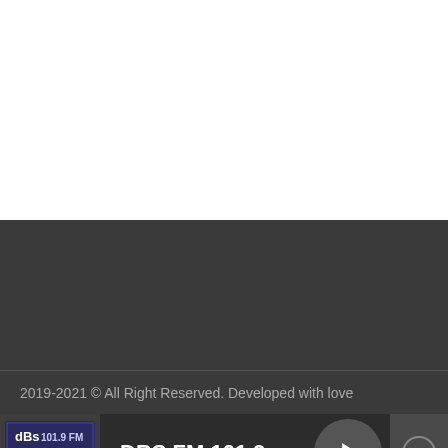[Figure (other): White blank area at top of page]
[Figure (other): Dark grey content area]
2019-2021 © All Right Reserved. Developed with love
[Figure (logo): DBS FM 101.9 radio station player bar with logo, station name, play button and down arrow button]